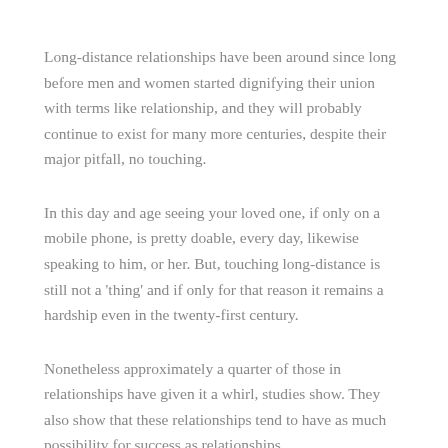Long-distance relationships have been around since long before men and women started dignifying their union with terms like relationship, and they will probably continue to exist for many more centuries, despite their major pitfall, no touching.
In this day and age seeing your loved one, if only on a mobile phone, is pretty doable, every day, likewise speaking to him, or her. But, touching long-distance is still not a 'thing' and if only for that reason it remains a hardship even in the twenty-first century.
Nonetheless approximately a quarter of those in relationships have given it a whirl, studies show. They also show that these relationships tend to have as much possibility for success as relationships